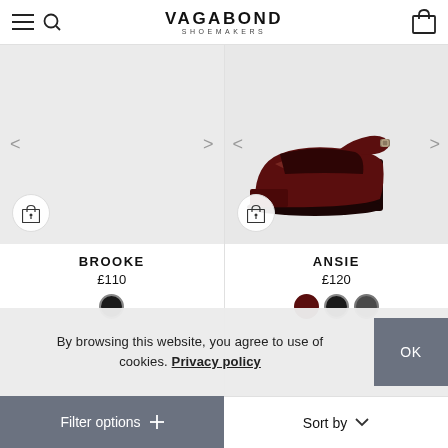VAGABOND SHOEMAKERS
[Figure (photo): Left product image area - light gray background, empty/faded product slot for BROOKE shoe]
[Figure (photo): Right product image - dark red/burgundy Mary Jane heeled shoe on light gray background for ANSIE]
BROOKE
£110
ANSIE
£120
By browsing this website, you agree to use of cookies. Privacy policy
OK
Filter options   Sort by